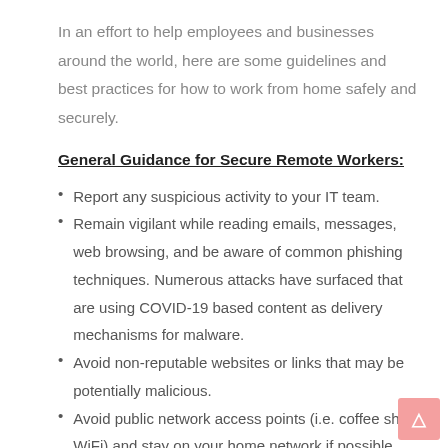In an effort to help employees and businesses around the world, here are some guidelines and best practices for how to work from home safely and securely.
General Guidance for Secure Remote Workers:
Report any suspicious activity to your IT team.
Remain vigilant while reading emails, messages, web browsing, and be aware of common phishing techniques. Numerous attacks have surfaced that are using COVID-19 based content as delivery mechanisms for malware.
Avoid non-reputable websites or links that may be potentially malicious.
Avoid public network access points (i.e. coffee shop WiFi) and stay on your home network if possible.